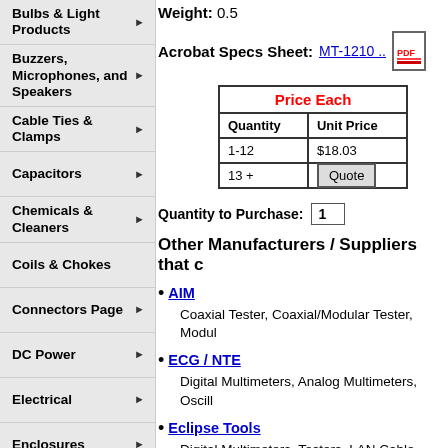Bulbs & Light Products
Buzzers, Microphones, and Speakers
Cable Ties & Clamps
Capacitors
Chemicals & Cleaners
Coils & Chokes
Connectors Page
DC Power
Electrical
Enclosures
Fans & Coolers
Fuses & Breakers
Hardware
Heat Shrink Tubing
Inductors
Integrated Circuits
Weight: 0.5
Acrobat Specs Sheet: MT-1210 ..
| Price Each |
| --- |
| Quantity | Unit Price |
| 1-12 | $18.03 |
| 13 + | Quote |
Quantity to Purchase: 1
Other Manufacturers / Suppliers that c
AIM
Coaxial Tester, Coaxial/Modular Tester, Modul
ECG / NTE
Digital Multimeters, Analog Multimeters, Oscill
Eclipse Tools
Digital Multimeters, Testers, LAN Cable Tester
Crimping tools